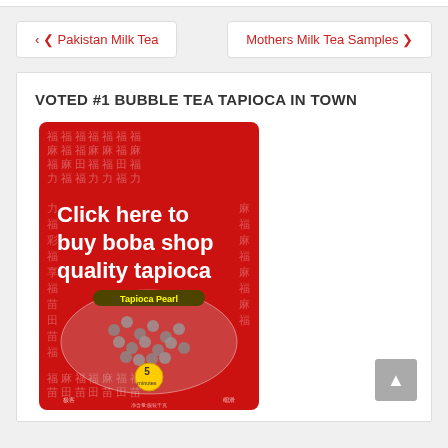‹ Pakistan Milk Tea
Mothers Milk Tea Samples ›
VOTED #1 BUBBLE TEA TAPIOCA IN TOWN
[Figure (photo): Red bag of Tapioca Pearl product with Chinese characters pattern, overlay text reading 'Click here to buy boba shop quality tapioca', and a label showing 'Tapioca Pearl' with a '5 minutes' badge at the bottom.]